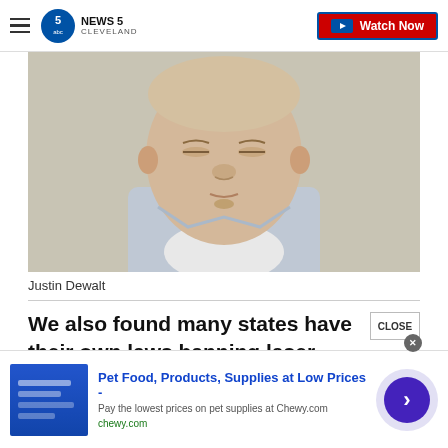NEWS 5 CLEVELAND — Watch Now
[Figure (photo): Mugshot of Justin Dewalt, a young white male with short light hair, eyes partially closed, wearing a light blue shirt over a white undershirt, photographed against a beige/gray wall.]
Justin Dewalt
We also found many states have their own laws banning laser strikes, including Ohio.
[Figure (other): Advertisement banner: Pet Food, Products, Supplies at Low Prices - Pay the lowest prices on pet supplies at Chewy.com — chewy.com]